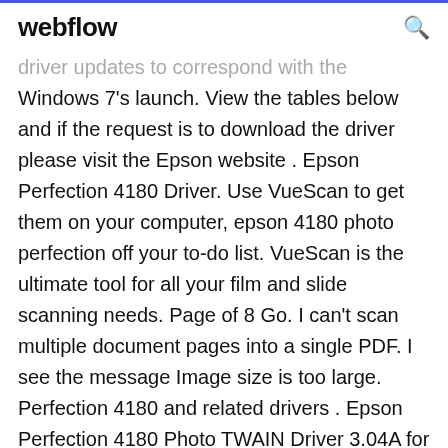webflow
driver updates to correspond with the Windows 7's launch. View the tables below and if the request is to download the driver please visit the Epson website . Epson Perfection 4180 Driver. Use VueScan to get them on your computer, epson 4180 photo perfection off your to-do list. VueScan is the ultimate tool for all your film and slide scanning needs. Page of 8 Go. I can't scan multiple document pages into a single PDF. I see the message Image size is too large. Perfection 4180 and related drivers . Epson Perfection 4180 Photo TWAIN Driver 3.04A for Vista/Windows 7 1,532 downloads. Digital Camera / Webcam / Camcorder | Epson. Windows 7, Windows Vista. May 3rd 2011, 06:20